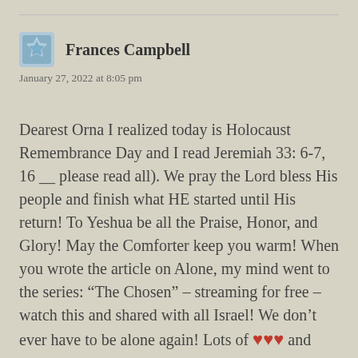Frances Campbell
January 27, 2022 at 8:05 pm
Dearest Orna I realized today is Holocaust Remembrance Day and I read Jeremiah 33: 6-7, 16 __ please read all). We pray the Lord bless His people and finish what HE started until His return! To Yeshua be all the Praise, Honor, and Glory! May the Comforter keep you warm! When you wrote the article on Alone, my mind went to the series: “The Chosen” – streaming for free – watch this and shared with all Israel! We don’t ever have to be alone again! Lots of ❤❤❤ and SHALOM! Frances Rut & Dr. Steve